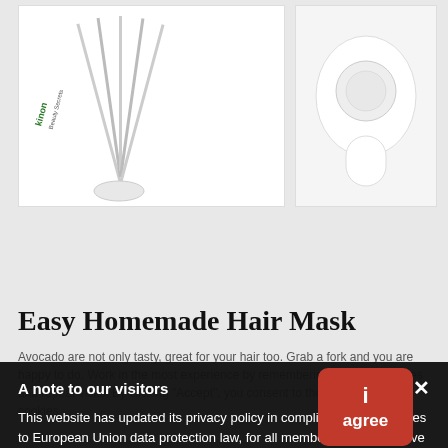[Figure (photo): Product images - hair styling tools including a comb/pick tool with green 'kinon' branding and a white hair dryer/styling device]
Easy Homemade Hair Mask
Avocado are not only tasty, great for your hair too. Grab a fork and you are happy to do. Work in the most experience by remembering your preferences and repeat visits. By clicking "Accept", you consent to the use of ALL the cookies.
A note to our visitors
This website has updated its privacy policy in compliance with changes to European Union data protection law, for all members globally. We've also updated our Privacy Policy to give you more information about your rights and responsibilities with respect to your privacy and personal information. Please read this to review the updates about which cookies we use and what information we collect on our site. By continuing to use this site, you are agreeing to our updated privacy policy.
Cookie settings
ACCEPT